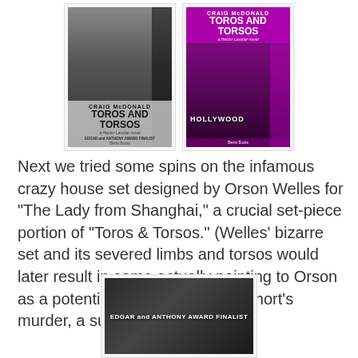[Figure (photo): Two book covers of 'Toros and Torsos' by Craig McDonald — left cover is black and white with gray overlay showing author name, book title, subtitle 'a Hector Lassiter novel', and 'Edgar and Anthony Award Finalist'; right cover shows magenta/purple colorized Hollywood scene with white text]
Next we tried some spins on the infamous crazy house set designed by Orson Welles for "The Lady from Shanghai," a crucial set-piece portion of "Toros & Torsos." (Welles' bizarre set and its severed limbs and torsos would later result in some actually pointing to Orson as a potential, viable suspect in Short's murder, a subplot of T&T.)
[Figure (photo): Black and white photo with text overlay reading 'EDGAR and ANTHONY AWARD FINALIST']